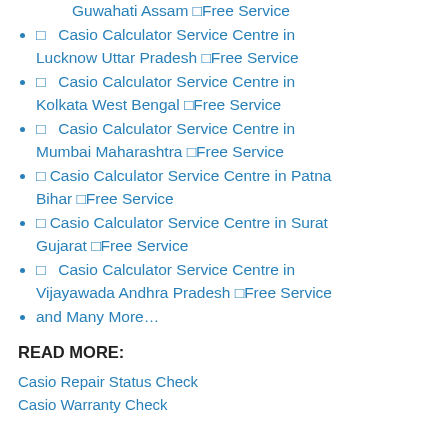⬛ Casio Calculator Service Centre in Guwahati Assam ⬜Free Service
⬛  Casio Calculator Service Centre in Lucknow Uttar Pradesh ⬜Free Service
⬛  Casio Calculator Service Centre in Kolkata West Bengal ⬜Free Service
⬛  Casio Calculator Service Centre in Mumbai Maharashtra ⬜Free Service
⬛ Casio Calculator Service Centre in Patna Bihar ⬜Free Service
⬛ Casio Calculator Service Centre in Surat Gujarat ⬜Free Service
⬛  Casio Calculator Service Centre in Vijayawada Andhra Pradesh ⬜Free Service
and Many More…
READ MORE:
Casio Repair Status Check
Casio Warranty Check